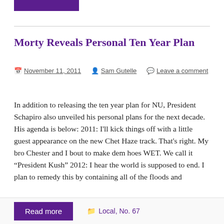Morty Reveals Personal Ten Year Plan
November 11, 2011   Sam Gutelle   Leave a comment
In addition to releasing the ten year plan for NU, President Schapiro also unveiled his personal plans for the next decade. His agenda is below: 2011: I'll kick things off with a little guest appearance on the new Chet Haze track. That's right. My bro Chester and I bout to make dem hoes WET. We call it “President Kush” 2012: I hear the world is supposed to end. I plan to remedy this by containing all of the floods and
Read more   Local, No. 67